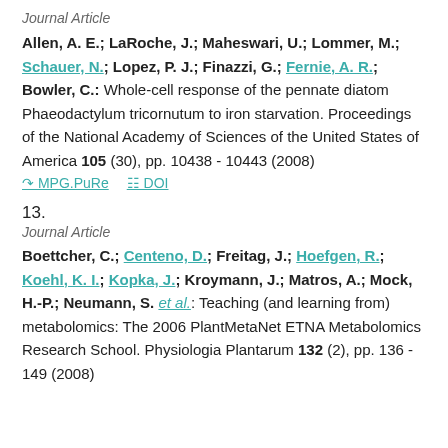Journal Article
Allen, A. E.; LaRoche, J.; Maheswari, U.; Lommer, M.; Schauer, N.; Lopez, P. J.; Finazzi, G.; Fernie, A. R.; Bowler, C.: Whole-cell response of the pennate diatom Phaeodactylum tricornutum to iron starvation. Proceedings of the National Academy of Sciences of the United States of America 105 (30), pp. 10438 - 10443 (2008)
MPG.PuRe   DOI
13.
Journal Article
Boettcher, C.; Centeno, D.; Freitag, J.; Hoefgen, R.; Koehl, K. I.; Kopka, J.; Kroymann, J.; Matros, A.; Mock, H.-P.; Neumann, S. et al.: Teaching (and learning from) metabolomics: The 2006 PlantMetaNet ETNA Metabolomics Research School. Physiologia Plantarum 132 (2), pp. 136 - 149 (2008)